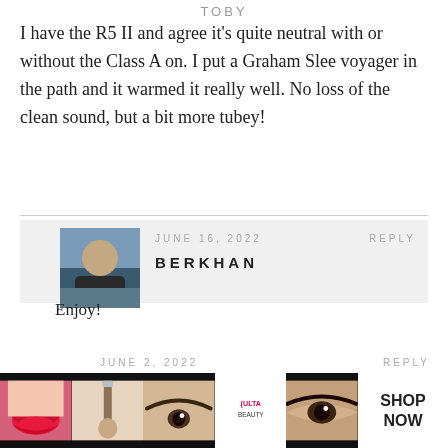TOBY
I have the R5 II and agree it’s quite neutral with or without the Class A on. I put a Graham Slee voyager in the path and it warmed it really well. No loss of the clean sound, but a bit more tubey!
JUNE 16, 2022  REPLY
BERKHAN

Enjoy!
JUNE 2, 2022  REPLY
DANBUDS
[Figure (screenshot): Advertisement banner showing makeup/beauty images with Ulta Beauty logo and SHOP NOW button, with a CLOSE button overlay]